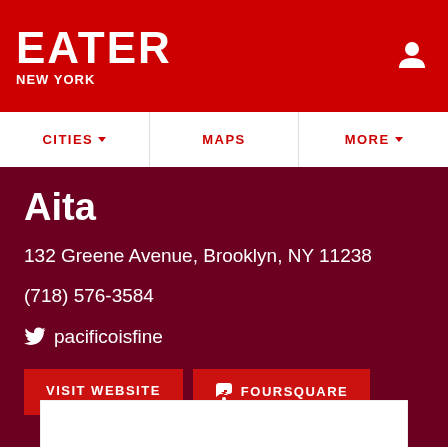EATER NEW YORK
Aita
132 Greene Avenue, Brooklyn, NY 11238
(718) 576-3584
pacificoisfine
VISIT WEBSITE   FOURSQUARE